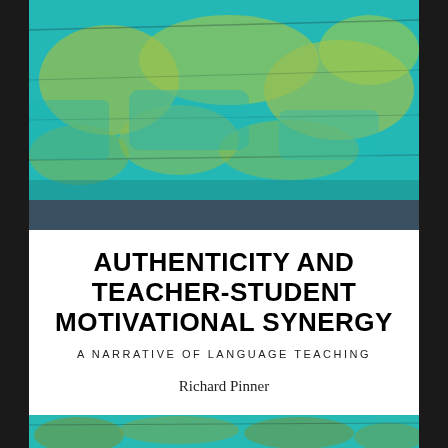[Figure (illustration): Abstract painting with teal/turquoise and yellow-green brushstrokes, resembling a landscape or map texture]
AUTHENTICITY AND TEACHER-STUDENT MOTIVATIONAL SYNERGY
A NARRATIVE OF LANGUAGE TEACHING
Richard Pinner